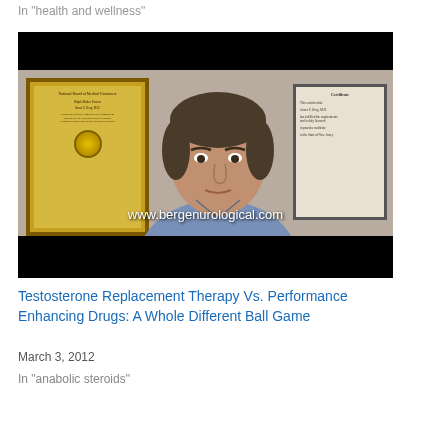In "health and wellness"
[Figure (photo): Video thumbnail showing a doctor in a blue shirt speaking in front of framed medical certificates on a wall. Watermark text reads www.bergenurological.com]
Testosterone Replacement Therapy Vs. Performance Enhancing Drugs: A Whole Different Ball Game
March 3, 2012
In "anabolic steroids"